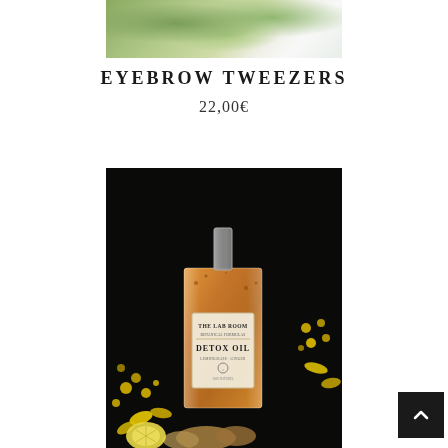[Figure (photo): Top portion of product photo showing eyebrow tweezers or botanical/flower arrangement on white background]
EYEBROW TWEEZERS
22,00€
[Figure (photo): The Lab Room Detox Oil bottle with lemongrass and ginger, surrounded by yellow flowers (mimosa, daffodils), lemon slices, and ginger root on dark background]
[Figure (other): Back to top arrow button, dark background with upward chevron]